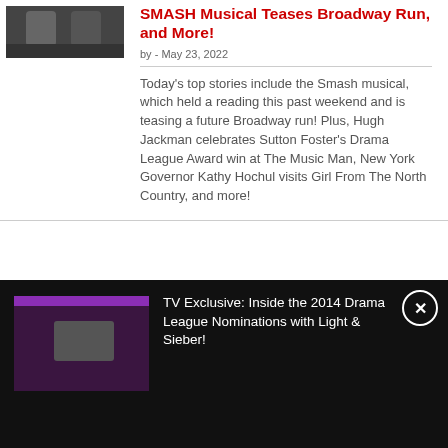[Figure (photo): Small thumbnail photo of two people in formal attire, partially visible at top-left]
SMASH Musical Teases Broadway Run, and More!
by - May 23, 2022
Today's top stories include the Smash musical, which held a reading this past weekend and is teasing a future Broadway run! Plus, Hugh Jackman celebrates Sutton Foster's Drama League Award win at The Music Man, New York Governor Kathy Hochul visits Girl From The North Country, and more!
[Figure (screenshot): Dark overlay video player bar at the bottom with a purple/dark thumbnail image and white text]
TV Exclusive: Inside the 2014 Drama League Nominations with Light & Sieber!